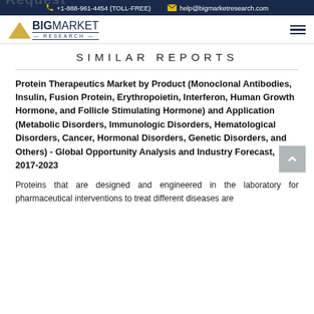+1-888-961-4454 (TOLL-FREE)  help@bigmarketresearch.com
SIMILAR REPORTS
Protein Therapeutics Market by Product (Monoclonal Antibodies, Insulin, Fusion Protein, Erythropoietin, Interferon, Human Growth Hormone, and Follicle Stimulating Hormone) and Application (Metabolic Disorders, Immunologic Disorders, Hematological Disorders, Cancer, Hormonal Disorders, Genetic Disorders, and Others) - Global Opportunity Analysis and Industry Forecast, 2017-2023
Proteins that are designed and engineered in the laboratory for pharmaceutical interventions to treat different diseases are